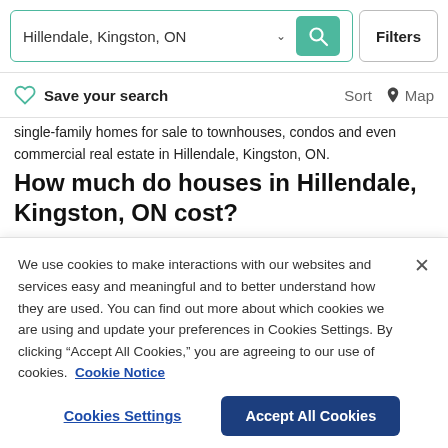[Figure (screenshot): Search bar with text 'Hillendale, Kingston, ON', dropdown arrow, green search button with magnifying glass icon, and 'Filters' button]
Save your search    Sort  Map
single-family homes for sale to townhouses, condos and even commercial real estate in Hillendale, Kingston, ON.
How much do houses in Hillendale, Kingston, ON cost?
Homes for sale in Hillendale, Kingston, ON vary with prices ranging from $484,000 to $975,000
We use cookies to make interactions with our websites and services easy and meaningful and to better understand how they are used. You can find out more about which cookies we are using and update your preferences in Cookies Settings. By clicking "Accept All Cookies," you are agreeing to our use of cookies.  Cookie Notice
Cookies Settings    Accept All Cookies